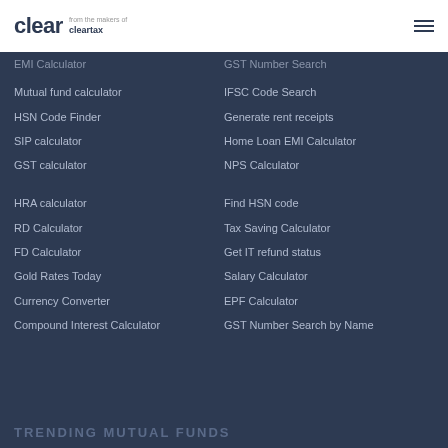Clear from the makers of cleartax
EMI Calculator
GST Number Search
Mutual fund calculator
IFSC Code Search
HSN Code Finder
Generate rent receipts
SIP calculator
Home Loan EMI Calculator
GST calculator
NPS Calculator
HRA calculator
Find HSN code
RD Calculator
Tax Saving Calculator
FD Calculator
Get IT refund status
Gold Rates Today
Salary Calculator
Currency Converter
EPF Calculator
Compound Interest Calculator
GST Number Search by Name
TRENDING MUTUAL FUNDS